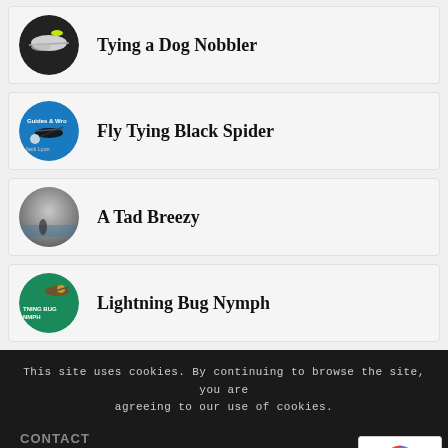Tying a Dog Nobbler
Fly Tying Black Spider
A Tad Breezy
Lightning Bug Nymph
This site uses cookies. By continuing to browse the site, you are agreeing to our use of cookies.
OK
CONTACT